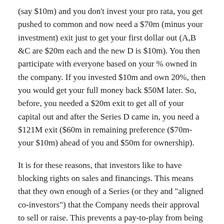(say $10m) and you don't invest your pro rata, you get pushed to common and now need a $70m (minus your investment) exit just to get your first dollar out (A,B &C are $20m each and the new D is $10m). You then participate with everyone based on your % owned in the company. If you invested $10m and own 20%, then you would get your full money back $50M later. So, before, you needed a $20m exit to get all of your capital out and after the Series D came in, you need a $121M exit ($60m in remaining preference ($70m-your $10m) ahead of you and $50m for ownership).
It is for these reasons, that investors like to have blocking rights on sales and financings. This means that they own enough of a Series (or they and "aligned co-investors") that the Company needs their approval to sell or raise. This prevents a pay-to-play from being crammed down on them.